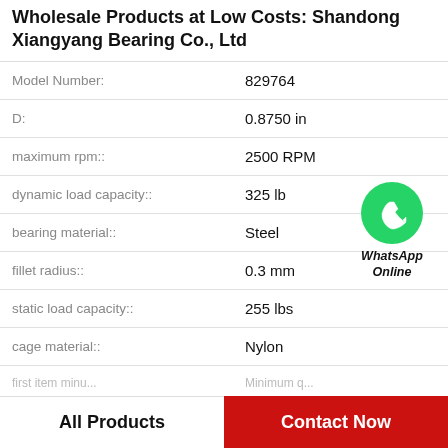Wholesale Products at Low Costs: Shandong Xiangyang Bearing Co., Ltd
| Property | Value |
| --- | --- |
| Model Number: | 829764 |
| D: | 0.8750 in |
| maximum rpm:: | 2500 RPM |
| dynamic load capacity:: | 325 lb |
| bearing material:: | Steel |
| fillet radius:: | 0.3 mm |
| static load capacity:: | 255 lbs |
| cage material:: | Nylon |
[Figure (logo): WhatsApp Online green circle icon with phone handset, text WhatsApp Online in italic bold]
All Products
Contact Now